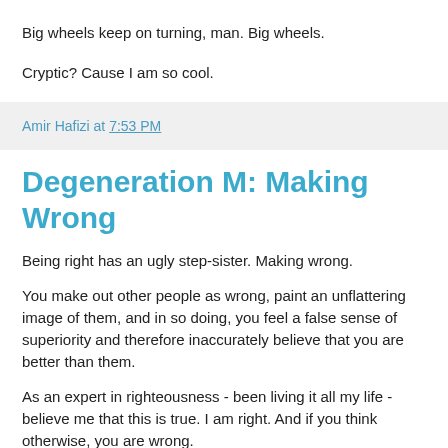Big wheels keep on turning, man. Big wheels.
Cryptic? Cause I am so cool.
Amir Hafizi at 7:53 PM
Degeneration M: Making Wrong
Being right has an ugly step-sister. Making wrong.
You make out other people as wrong, paint an unflattering image of them, and in so doing, you feel a false sense of superiority and therefore inaccurately believe that you are better than them.
As an expert in righteousness - been living it all my life - believe me that this is true. I am right. And if you think otherwise, you are wrong.